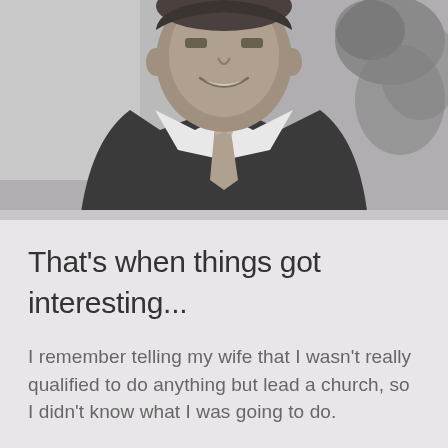[Figure (photo): Black and white portrait photo of a smiling man in a dark suit and tie, with plants/foliage visible in the background. The image is cropped showing from approximately the shoulders up.]
That’s when things got interesting...
I remember telling my wife that I wasn’t really qualified to do anything but lead a church, so I didn’t know what I was going to do.